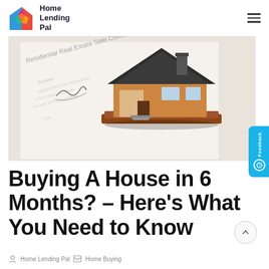Home Lending Pal
[Figure (photo): A miniature house model sitting on top of a Residential Real Estate Sale Contract document with a signature visible]
Buying A House in 6 Months? – Here's What You Need to Know
Home Lending Pal | Home Buying